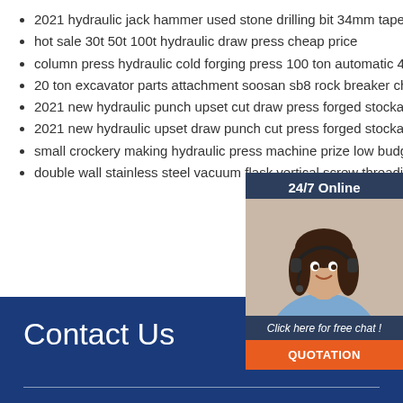2021 hydraulic jack hammer used stone drilling bit 34mm taper button bits
hot sale 30t 50t 100t hydraulic draw press cheap price
column press hydraulic cold forging press 100 ton automatic 4 column china cold forging hydraulic press
20 ton excavator parts attachment soosan sb8 rock breaker chisel hydraulic jack hammer
2021 new hydraulic punch upset cut draw press forged stockade forging
2021 new hydraulic upset draw punch cut press forged stockade forging
small crockery making hydraulic press machine prize low budget
double wall stainless steel vacuum flask vertical screw threading machine
[Figure (illustration): Customer service representative wearing headset, with 24/7 Online chat widget overlay showing dark blue background, photo of woman, and QUOTATION button in orange]
Contact Us